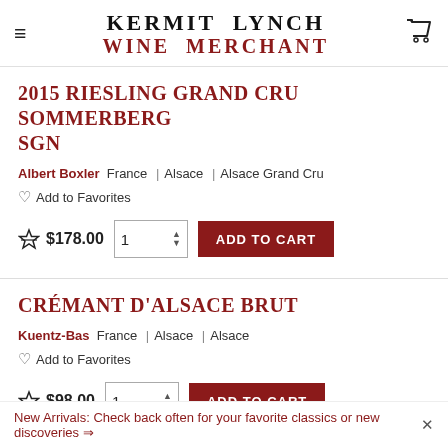KERMIT LYNCH WINE MERCHANT
2015 RIESLING GRAND CRU SOMMERBERG SGN
Albert Boxler  France | Alsace | Alsace Grand Cru
♡ Add to Favorites
$178.00  1  ADD TO CART
CRÉMANT D'ALSACE BRUT
Kuentz-Bas  France | Alsace | Alsace
♡ Add to Favorites
$98.00  1  ADD TO CART
New Arrivals: Check back often for your favorite classics or new discoveries →